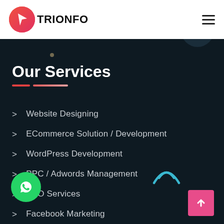TRIONFO
Our Services
Website Designing
ECommerce Solution / Development
WordPress Development
PPC / Adwords Management
SEO Services
Facebook Marketing
ackages
Web Design Package